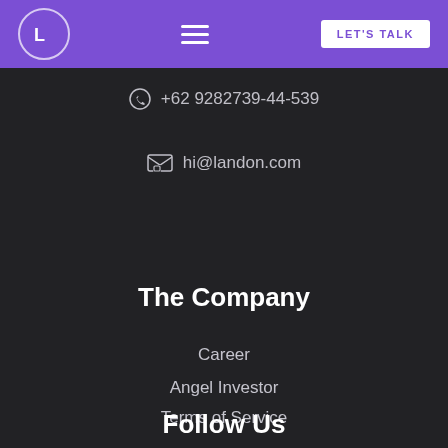Landon — LET'S TALK
+62 9282739-44-539
hi@landon.com
The Company
Career
Angel Investor
Terms of Service
Legal Information
Credits
Follow Us